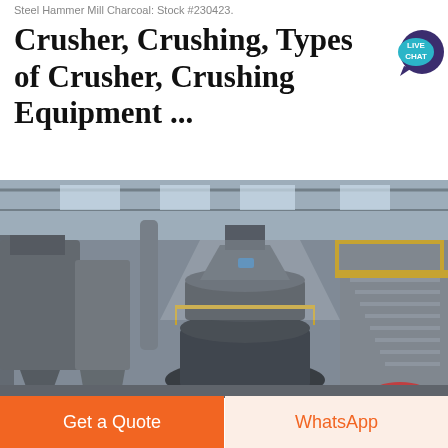Steel Hammer Mill Charcoal: Stock #230423.
Crusher, Crushing, Types of Crusher, Crushing Equipment ...
[Figure (photo): Industrial crushing/milling equipment inside a large factory building. Shows a large vertical mill machine in the center, with grey silos/hoppers to the left, metal staircases and yellow safety railings to the right, and a high steel-framed roof with skylights above.]
Get a Quote
WhatsApp